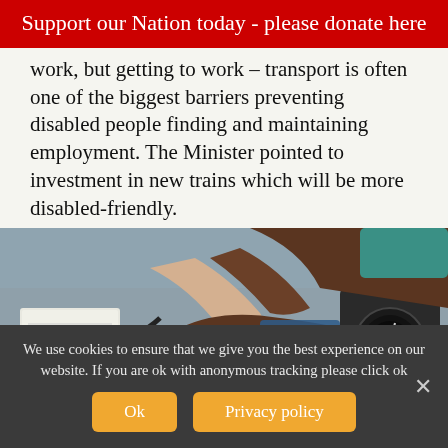Support our Nation today - please donate here
work, but getting to work – transport is often one of the biggest barriers preventing disabled people finding and maintaining employment. The Minister pointed to investment in new trains which will be more disabled-friendly.
[Figure (photo): Overhead view of a medical professional taking a patient's blood pressure, with a stethoscope and medical chart visible on a grey surface.]
We use cookies to ensure that we give you the best experience on our website. If you are ok with anonymous tracking please click ok
Ok
Privacy policy